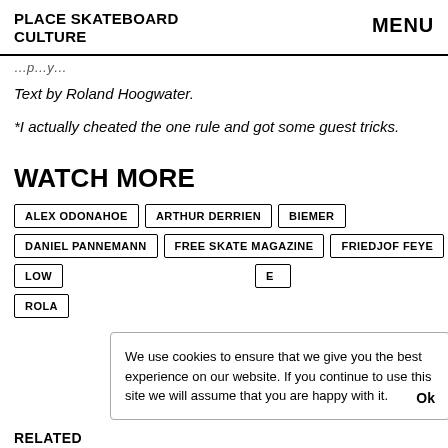PLACE SKATEBOARD CULTURE   MENU
Text by Roland Hoogwater.
*I actually cheated the one rule and got some guest tricks.
WATCH MORE
ALEX ODONAHOE
ARTHUR DERRIEN
BIEMER
DANIEL PANNEMANN
FREE SKATE MAGAZINE
FRIEDJOF FEYE
LOW...
ROLA...
We use cookies to ensure that we give you the best experience on our website. If you continue to use this site we will assume that you are happy with it.  Ok
RELATED